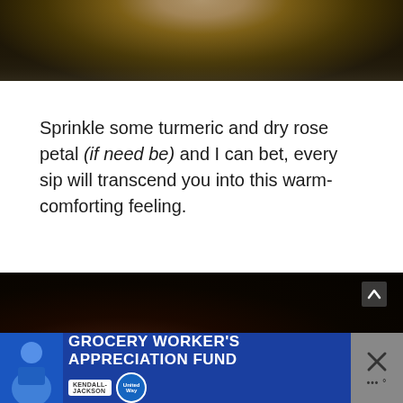[Figure (photo): Top portion of a food/drink photo showing a cup on a dark wooden surface, partially cropped]
Sprinkle some turmeric and dry rose petal (if need be) and I can bet, every sip will transcend you into this warm-comforting feeling.
[Figure (photo): Dark moody food/drink photo with blurred warm tones on dark background]
[Figure (other): Advertisement banner: Grocery Worker's Appreciation Fund with Kendall Jackson and United Way logos]